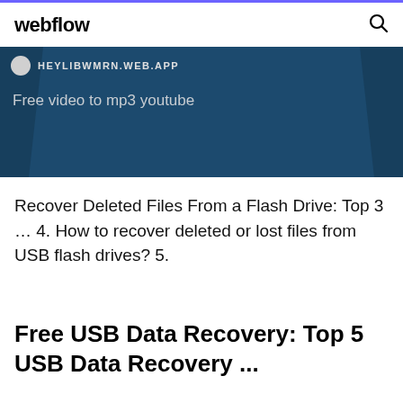webflow
[Figure (screenshot): Dark blue browser screenshot area showing URL bar with 'HEYLIBWMRN.WEB.APP' and text 'Free video to mp3 youtube' with silhouette figures on sides]
Recover Deleted Files From a Flash Drive: Top 3 … 4. How to recover deleted or lost files from USB flash drives? 5.
Free USB Data Recovery: Top 5 USB Data Recovery ...